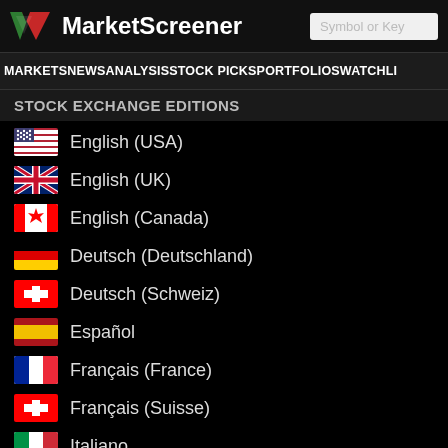MarketScreener
MARKETS NEWS ANALYSIS STOCK PICKS PORTFOLIOS WATCHLI
STOCK EXCHANGE EDITIONS
English (USA)
English (UK)
English (Canada)
Deutsch (Deutschland)
Deutsch (Schweiz)
Español
Français (France)
Français (Suisse)
Italiano
Nederlands (Nederland)
Nederlands (België)